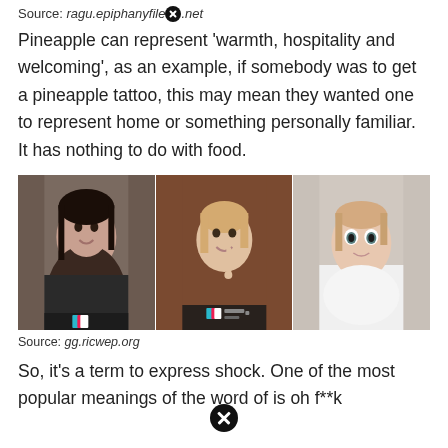Source: ragu.epiphanyfile.net
Pineapple can represent 'warmth, hospitality and welcoming', as an example, if somebody was to get a pineapple tattoo, this may mean they wanted one to represent home or something personally familiar. It has nothing to do with food.
[Figure (photo): Three TikTok-style selfie photos of young women side by side; a watermark/logo bar partially visible at bottom.]
Source: gg.ricwep.org
So, it's a term to express shock. One of the most popular meanings of the word of is oh f**k